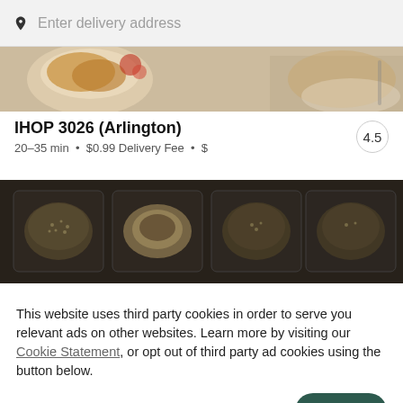Enter delivery address
[Figure (photo): Cropped photo of food dishes — fried items and colorful toppings visible at top]
IHOP 3026 (Arlington)
20–35 min • $0.99 Delivery Fee • $
[Figure (photo): Overhead photo of takeout trays with food — dark background, sesame-topped items and dipping sauces]
This website uses third party cookies in order to serve you relevant ads on other websites. Learn more by visiting our Cookie Statement, or opt out of third party ad cookies using the button below.
OPT OUT
GOT IT